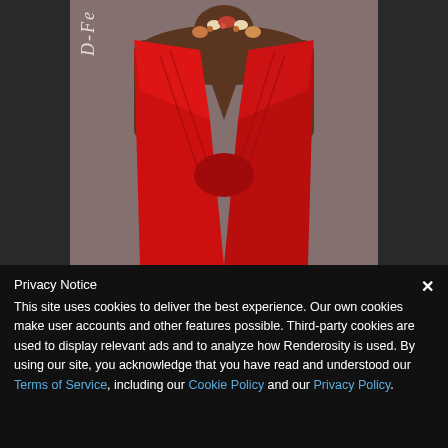[Figure (photo): Fashion photo of a woman wearing a red draped dress with a deep V-neckline and a beaded necklace, photographed against a grey background. A watermark reading 'D-Fe' appears vertically on the left side of the image.]
Privacy Notice
This site uses cookies to deliver the best experience. Our own cookies make user accounts and other features possible. Third-party cookies are used to display relevant ads and to analyze how Renderosity is used. By using our site, you acknowledge that you have read and understood our Terms of Service, including our Cookie Policy and our Privacy Policy.